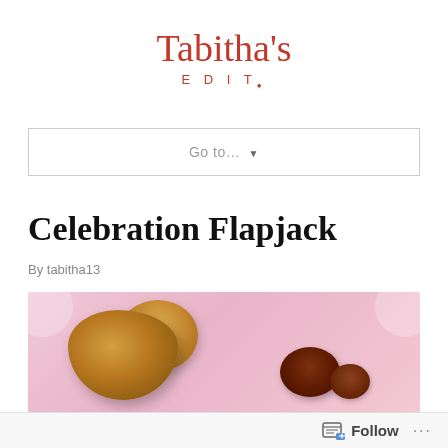Tabitha's EDIT.
Go to...  ▼
Celebration Flapjack
By tabitha13
[Figure (photo): Food photo of celebration flapjack pieces on a pink background]
Follow  ...